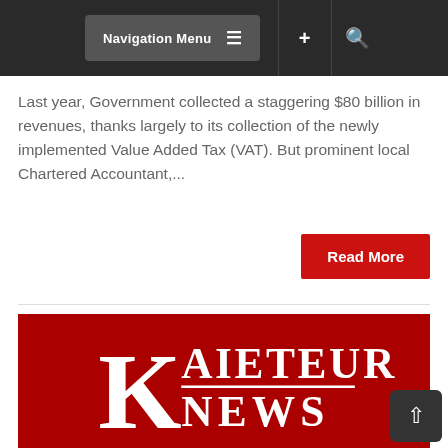Navigation Menu
Last year, Government collected a staggering $80 billion in revenues, thanks largely to its collection of the newly implemented Value Added Tax (VAT). But prominent local Chartered Accountant,...
Read More
[Figure (logo): Kaieteur News logo — white serif text on a red background, large K on the left, AIETEUR on top line, NEWS on bottom line with horizontal rule between them]